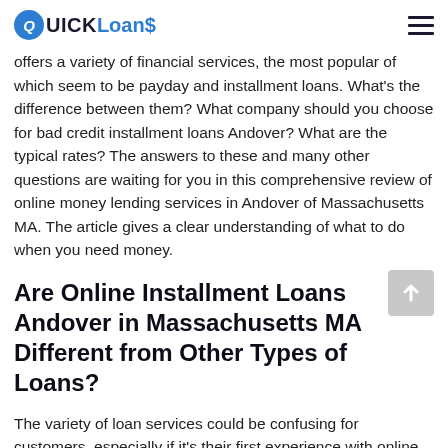QUICK Loans
offers a variety of financial services, the most popular of which seem to be payday and installment loans. What's the difference between them? What company should you choose for bad credit installment loans Andover? What are the typical rates? The answers to these and many other questions are waiting for you in this comprehensive review of online money lending services in Andover of Massachusetts MA. The article gives a clear understanding of what to do when you need money.
Are Online Installment Loans Andover in Massachusetts MA Different from Other Types of Loans?
The variety of loan services could be confusing for customers, especially if it's their first experience with online loans. We're going to clarify in what ways Andover